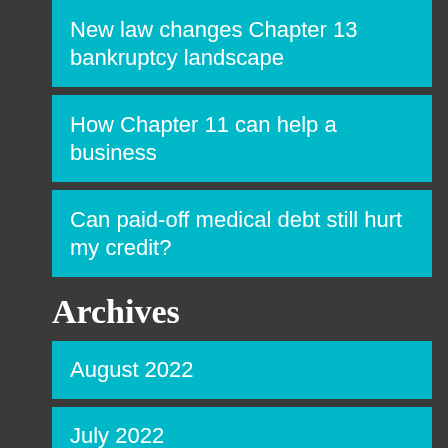New law changes Chapter 13 bankruptcy landscape
How Chapter 11 can help a business
Can paid-off medical debt still hurt my credit?
Archives
August 2022
July 2022
June 2022